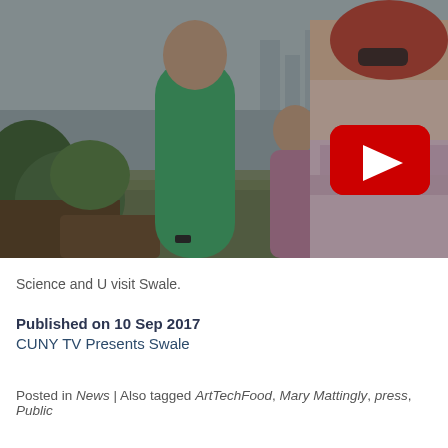[Figure (screenshot): Video thumbnail showing people visiting Swale outdoor garden/farm on a boat. A YouTube play button (red rectangle with white triangle) is overlaid in the center-right area. People visible include a man in a green shirt and a woman with red hair and sunglasses.]
Science and U visit Swale.
Published on 10 Sep 2017
CUNY TV Presents Swale
Posted in News | Also tagged ArtTechFood, Mary Mattingly, press, Public